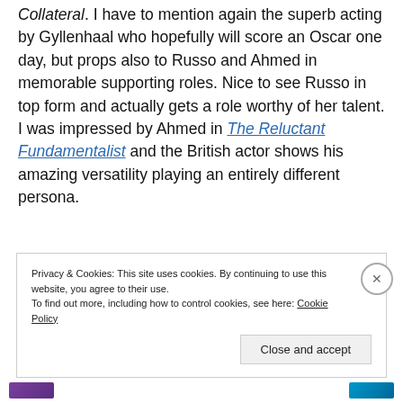Collateral. I have to mention again the superb acting by Gyllenhaal who hopefully will score an Oscar one day, but props also to Russo and Ahmed in memorable supporting roles. Nice to see Russo in top form and actually gets a role worthy of her talent. I was impressed by Ahmed in The Reluctant Fundamentalist and the British actor shows his amazing versatility playing an entirely different persona.
Privacy & Cookies: This site uses cookies. By continuing to use this website, you agree to their use.
To find out more, including how to control cookies, see here: Cookie Policy